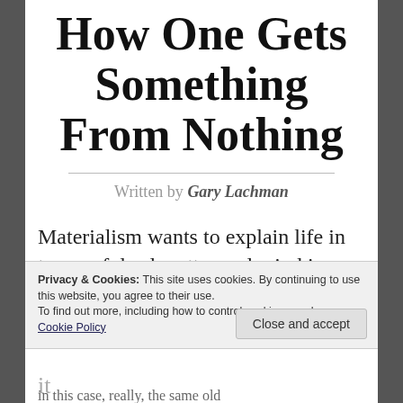How One Gets Something From Nothing
Written by Gary Lachman
Materialism wants to explain life in terms of dead matter and mind in
Privacy & Cookies: This site uses cookies. By continuing to use this website, you agree to their use.
To find out more, including how to control cookies, see here: Cookie Policy
Close and accept
it
in this case, really, the same old